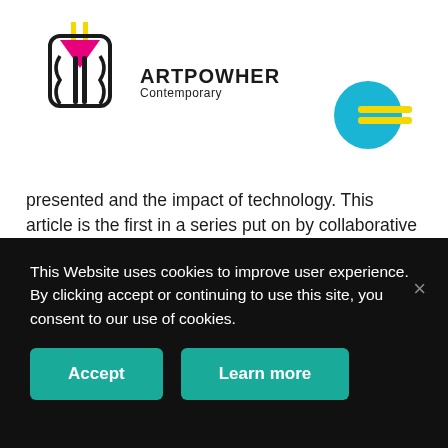[Figure (logo): ARTPOWHER Contemporary logo with geometric/abstract graphic mark in pink, yellow, and black, plus text 'ARTPOWHER Contemporary']
[Figure (logo): Blue circle with yellow horizontal lines (hamburger/menu icon) in upper right]
presented and the impact of technology. This article is the first in a series put on by collaborative art project house ARTPOWHER Contemporary which examines female-identifying illustrators working in the arts. In conjunction with this, an interview has been conducted with illustration artist Claudia Chanhoi, aptly commemorating March 8th 2021: International Womxn's Day
This Website uses cookies to improve user experience. By clicking accept or continuing to use this site, you consent to our use of cookies.
Accept
Learn more